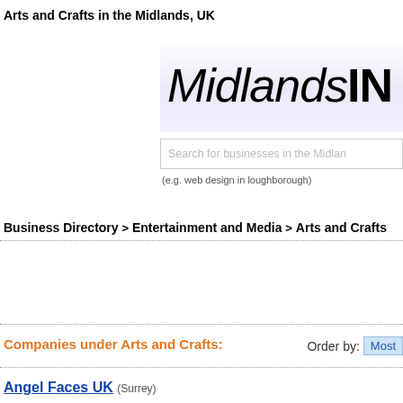Arts and Crafts in the Midlands, UK
[Figure (logo): MidlandsIN logo with italic and bold text on a light purple-white gradient background]
Search for businesses in the Midlands...
(e.g. web design in loughborough)
Business Directory > Entertainment and Media > Arts and Crafts
Companies under Arts and Crafts:
Order by: Most
Angel Faces UK (Surrey)